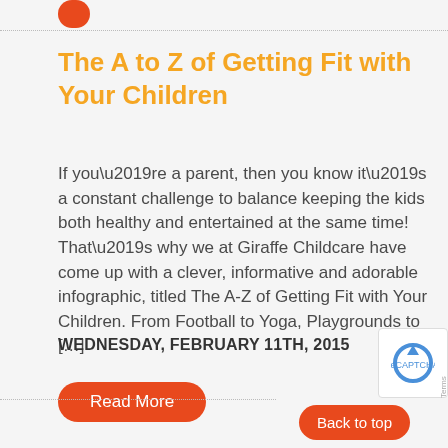The A to Z of Getting Fit with Your Children
If you’re a parent, then you know it’s a constant challenge to balance keeping the kids both healthy and entertained at the same time! That’s why we at Giraffe Childcare have come up with a clever, informative and adorable infographic, titled The A-Z of Getting Fit with Your Children. From Football to Yoga, Playgrounds to […]
WEDNESDAY, FEBRUARY 11TH, 2015
[Figure (other): Orange rounded rectangle button labeled Read More]
[Figure (other): reCAPTCHA widget with blue circular arrow icon]
[Figure (other): Orange rounded rectangle button labeled Back to top]